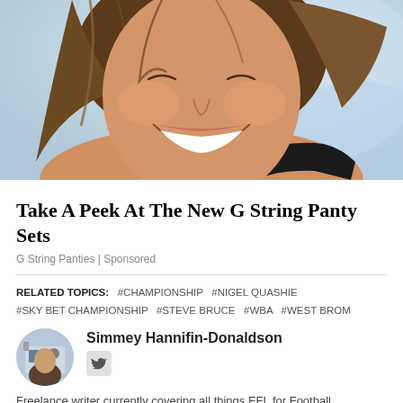[Figure (photo): Close-up photo of a laughing woman with brown hair and a black strap top, blue/white background]
Take A Peek At The New G String Panty Sets
G String Panties | Sponsored
RELATED TOPICS: #CHAMPIONSHIP #NIGEL QUASHIE #SKY BET CHAMPIONSHIP #STEVE BRUCE #WBA #WEST BROM
[Figure (photo): Circular avatar photo of author Simmey Hannifin-Donaldson]
Simmey Hannifin-Donaldson
Freelance writer currently covering all things EFL for Football